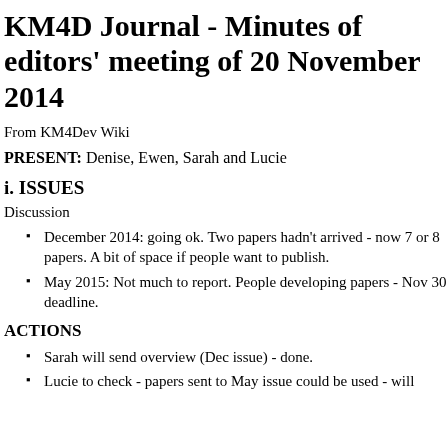KM4D Journal - Minutes of editors' meeting of 20 November 2014
From KM4Dev Wiki
PRESENT: Denise, Ewen, Sarah and Lucie
i. ISSUES
Discussion
December 2014: going ok. Two papers hadn't arrived - now 7 or 8 papers. A bit of space if people want to publish.
May 2015: Not much to report. People developing papers - Nov 30 deadline.
ACTIONS
Sarah will send overview (Dec issue) - done.
Lucie to check - papers sent to May issue could be used - will